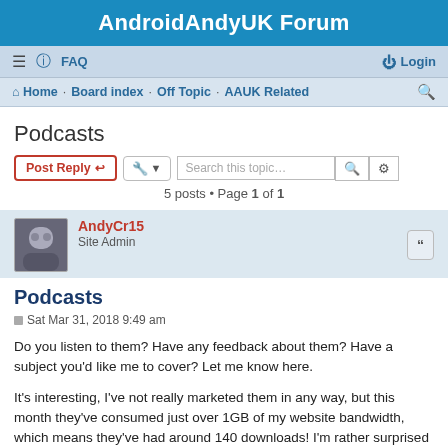AndroidAndyUK Forum
≡  FAQ   Login
Home · Board index · Off Topic · AAUK Related
Podcasts
Post Reply   [tools]   Search this topic...   5 posts • Page 1 of 1
AndyCr15
Site Admin
Podcasts
Sat Mar 31, 2018 9:49 am
Do you listen to them? Have any feedback about them? Have a subject you'd like me to cover? Let me know here.

It's interesting, I've not really marketed them in any way, but this month they've consumed just over 1GB of my website bandwidth, which means they've had around 140 downloads! I'm rather surprised by that!

They've been increasing most months -